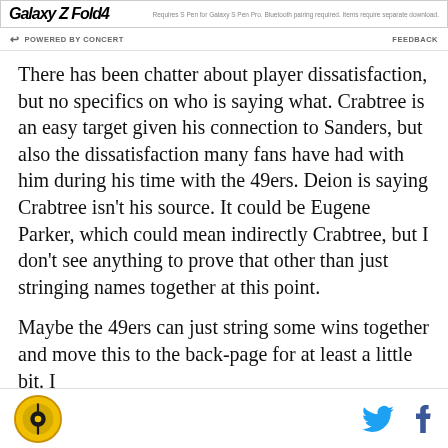[Figure (other): Samsung Galaxy Z Fold4 advertisement banner]
POWERED BY CONCERT    FEEDBACK
There has been chatter about player dissatisfaction, but no specifics on who is saying what. Crabtree is an easy target given his connection to Sanders, but also the dissatisfaction many fans have had with him during his time with the 49ers. Deion is saying Crabtree isn't his source. It could be Eugene Parker, which could mean indirectly Crabtree, but I don't see anything to prove that other than just stringing names together at this point.
Maybe the 49ers can just string some wins together and move this to the back-page for at least a little bit. I
SB Nation logo, Twitter icon, Facebook icon